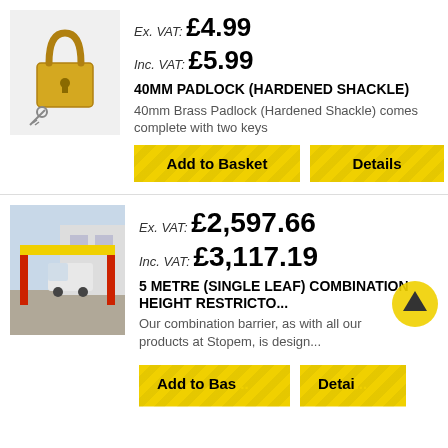[Figure (photo): Brass padlock with two keys on white background]
Ex. VAT: £4.99
Inc. VAT: £5.99
40MM PADLOCK (HARDENED SHACKLE)
40mm Brass Padlock (Hardened Shackle) comes complete with two keys
[Figure (screenshot): Add to Basket and Details yellow buttons]
[Figure (photo): Red and yellow height restriction barrier with white van passing through in a car park]
Ex. VAT: £2,597.66
Inc. VAT: £3,117.19
5 METRE (SINGLE LEAF) COMBINATION HEIGHT RESTRICTO...
Our combination barrier, as with all our products at Stopem, is design...
[Figure (screenshot): Partially visible Add to Basket and Details yellow buttons at page bottom]